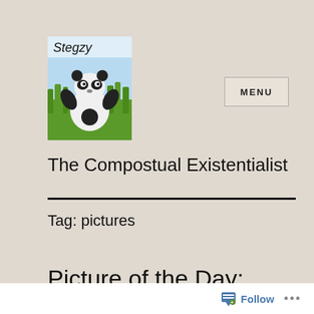[Figure (photo): Blog logo: a stuffed panda toy on grass with text 'Stegzy' written at the top]
The Compostual Existentialist
Tag: pictures
Picture of the Day: Farmer
Follow ...